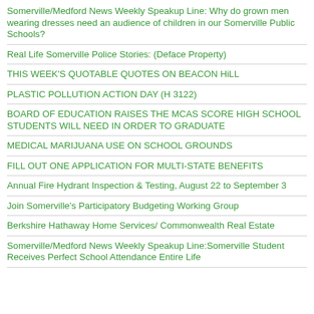Somerville/Medford News Weekly Speakup Line: Why do grown men wearing dresses need an audience of children in our Somerville Public Schools?
Real Life Somerville Police Stories: (Deface Property)
THIS WEEK'S QUOTABLE QUOTES ON BEACON HiLL
PLASTIC POLLUTION ACTION DAY (H 3122)
BOARD OF EDUCATION RAISES THE MCAS SCORE HIGH SCHOOL STUDENTS WILL NEED IN ORDER TO GRADUATE
MEDICAL MARIJUANA USE ON SCHOOL GROUNDS
FILL OUT ONE APPLICATION FOR MULTI-STATE BENEFITS
Annual Fire Hydrant Inspection & Testing, August 22 to September 3
Join Somerville's Participatory Budgeting Working Group
Berkshire Hathaway Home Services/ Commonwealth Real Estate
Somerville/Medford News Weekly Speakup Line:Somerville Student Receives Perfect School Attendance Entire Life